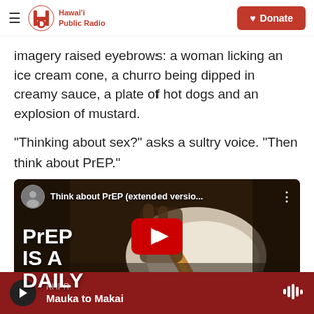Hawai'i Public Radio — Donate
imagery raised eyebrows: a woman licking an ice cream cone, a churro being dipped in creamy sauce, a plate of hot dogs and an explosion of mustard.
"Thinking about sex?" asks a sultry voice. "Then think about PrEP."
[Figure (screenshot): YouTube video embed showing 'Think about PrEP (extended versio...' with overlay text 'PrEP IS A DAILY' and a red YouTube play button. Background shows a churro being dipped in cream.]
KHPR — Mauka to Makai (audio player bar)